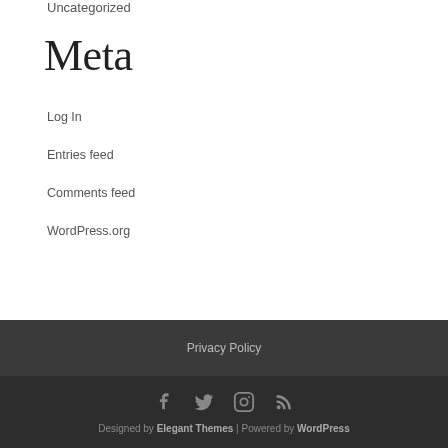Uncategorized
Meta
Log In
Entries feed
Comments feed
WordPress.org
Privacy Policy
Privacy Policy
[Figure (infographic): Social media icons: Facebook, Twitter, Instagram, RSS feed]
Designed by Elegant Themes | Powered by WordPress